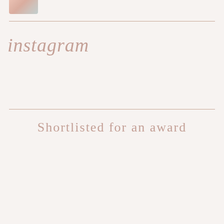[Figure (photo): Partial photo visible at top left corner of page, cropped image showing warm tones]
instagram
Shortlisted for an award